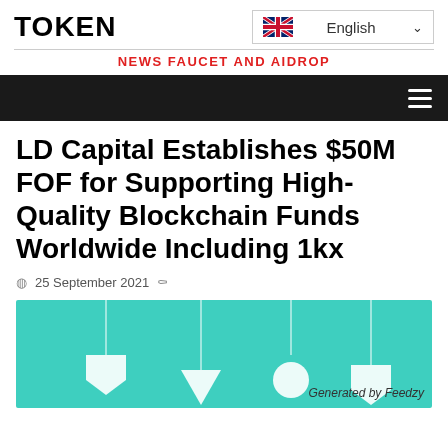TOKEN
[Figure (screenshot): Language selector dropdown showing UK flag and 'English' with chevron]
NEWS FAUCET AND AIDROP
LD Capital Establishes $50M FOF for Supporting High-Quality Blockchain Funds Worldwide Including 1kx
25 September 2021
[Figure (illustration): Teal/turquoise background image with white decorative shapes and 'Generated by Feedzy' watermark in bottom right]